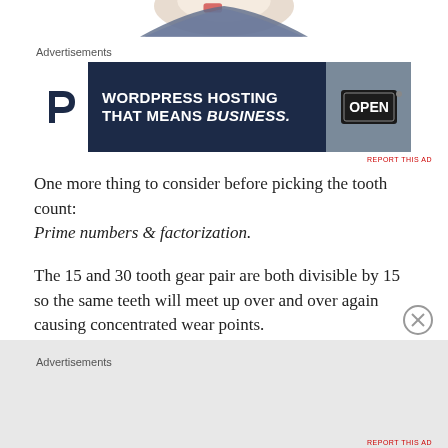[Figure (illustration): Partial view of a decorative or mechanical illustration at the top of the page, showing curved shapes in light colors]
Advertisements
[Figure (screenshot): Advertisement banner for WordPress Hosting with dark navy background. Left side shows Pressable P logo in white box. Text reads: WORDPRESS HOSTING THAT MEANS BUSINESS. Right side shows an OPEN sign photo.]
REPORT THIS AD
One more thing to consider before picking the tooth count: Prime numbers & factorization.
The 15 and 30 tooth gear pair are both divisible by 15 so the same teeth will meet up over and over again causing concentrated wear points.
A better solution is to make the pair have 15 & 31 teeth.
While this doesn't produce exactly the same ratio, it will
Advertisements
REPORT THIS AD